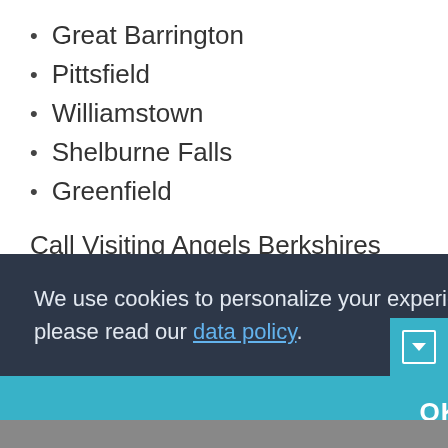Great Barrington
Pittsfield
Williamstown
Shelburne Falls
Greenfield
Call Visiting Angels Berkshires today to learn more about how our caregivers could help support your loved one in Great Barrington and book a free, no-obligation assessment.
We use cookies to personalize your experience on our site. To find out more, please read our data policy.
OK